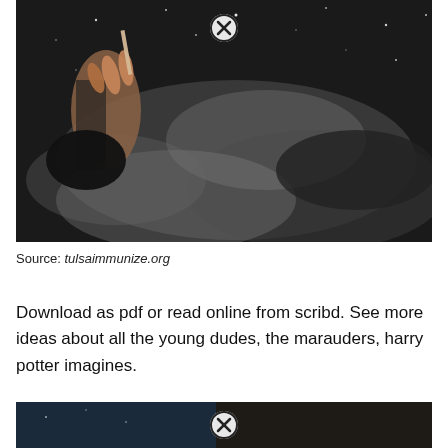[Figure (photo): Black and white photo of a hand holding a cigarette or wand against a smoky, starry dark sky background, with an X/close button overlay at the top center.]
Source: tulsaimmunize.org
Download as pdf or read online from scribd. See more ideas about all the young dudes, the marauders, harry potter imagines.
[Figure (photo): Partial view of another dark, moody photo (blue/dark tones) at the bottom of the page, with an X/close button overlay.]